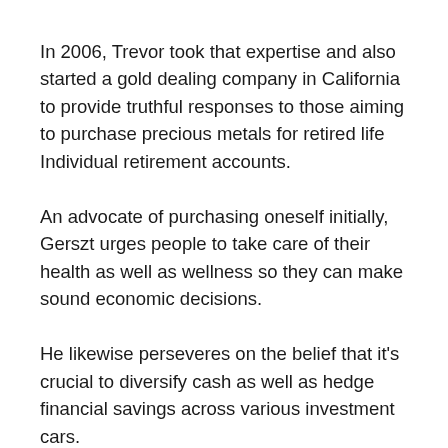In 2006, Trevor took that expertise and also started a gold dealing company in California to provide truthful responses to those aiming to purchase precious metals for retired life Individual retirement accounts.
An advocate of purchasing oneself initially, Gerszt urges people to take care of their health as well as wellness so they can make sound economic decisions.
He likewise perseveres on the belief that it's crucial to diversify cash as well as hedge financial savings across various investment cars.
Golden Review From Self Directed Individual…